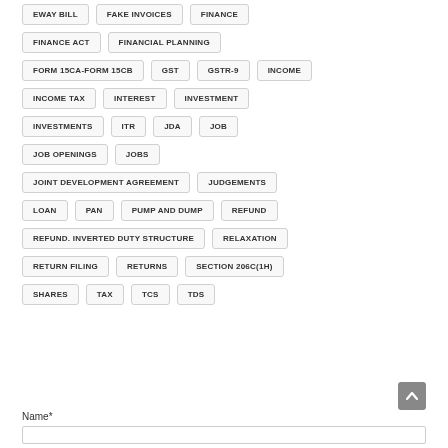EWAY BILL
FAKE INVOICES
FINANCE
FINANCE ACT
FINANCIAL PLANNING
FORM 15CA-FORM 15CB
GST
GSTR-9
INCOME
INCOME TAX
INTEREST
INVESTMENT
INVESTMENTS
ITR
JDA
JOB
JOB OPENINGS
JOBS
JOINT DEVELOPMENT AGREEMENT
JUDGEMENTS
LOAN
PAN
PUMP AND DUMP
REFUND
REFUND. INVERTED DUTY STRUCTURE
RELAXATION
RETURN FILING
RETURNS
SECTION 206C(1H)
SHARES
TAX
TCS
TDS
Name*